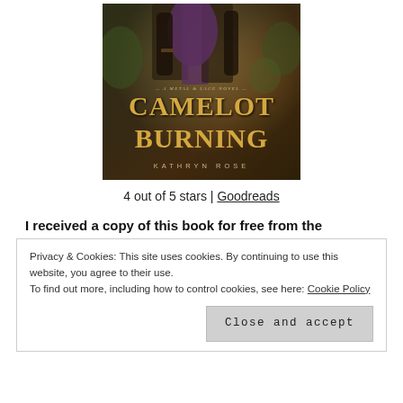[Figure (illustration): Book cover for 'Camelot Burning: A Metal & Lace Novel' by Kathryn Rose. Dark fantasy cover with golden ornate title text on a deep olive and brown background with figures in medieval/fantasy clothing.]
4 out of 5 stars | Goodreads
I received a copy of this book for free from the
Privacy & Cookies: This site uses cookies. By continuing to use this website, you agree to their use.
To find out more, including how to control cookies, see here: Cookie Policy
Close and accept